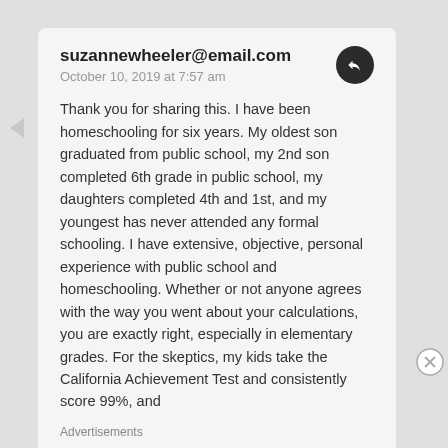suzannewheeler@email.com
October 10, 2019 at 7:57 am
Thank you for sharing this. I have been homeschooling for six years. My oldest son graduated from public school, my 2nd son completed 6th grade in public school, my daughters completed 4th and 1st, and my youngest has never attended any formal schooling. I have extensive, objective, personal experience with public school and homeschooling. Whether or not anyone agrees with the way you went about your calculations, you are exactly right, especially in elementary grades. For the skeptics, my kids take the California Achievement Test and consistently score 99%, and
Advertisements